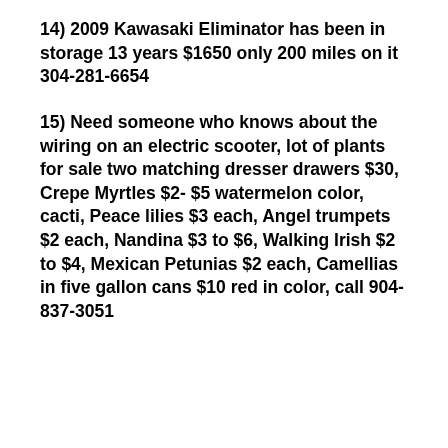14) 2009 Kawasaki Eliminator has been in storage 13 years $1650 only 200 miles on it 304-281-6654
15) Need someone who knows about the wiring on an electric scooter, lot of plants for sale two matching dresser drawers $30, Crepe Myrtles $2- $5 watermelon color, cacti, Peace lilies $3 each, Angel trumpets $2 each, Nandina $3 to $6, Walking Irish $2 to $4, Mexican Petunias $2 each, Camellias in five gallon cans $10 red in color, call 904-837-3051